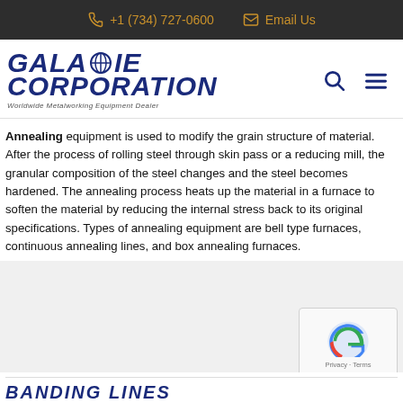+1 (734) 727-0600   Email Us
[Figure (logo): Galaxie Corporation logo - Worldwide Metalworking Equipment Dealer]
Annealing equipment is used to modify the grain structure of material. After the process of rolling steel through skin pass or a reducing mill, the granular composition of the steel changes and the steel becomes hardened. The annealing process heats up the material in a furnace to soften the material by reducing the internal stress back to its original specifications. Types of annealing equipment are bell type furnaces, continuous annealing lines, and box annealing furnaces.
BANDING LINES